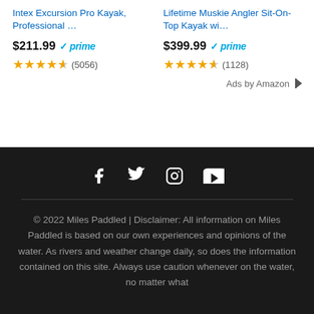Intex Excursion Pro Kayak, Professional …
Lifetime Muskie Angler Sit-On-Top Kayak wi…
$211.99 ✓prime (5056)
$399.99 ✓prime (1128)
Ads by Amazon
[Figure (infographic): Social media icons: Facebook, Twitter, Instagram, YouTube]
© 2022 Miles Paddled | Disclaimer: All information on Miles Paddled is based on our own experiences and opinions of the water. As rivers and weather change daily, so does the information contained on this site. Always use caution whenever on the water, no matter what